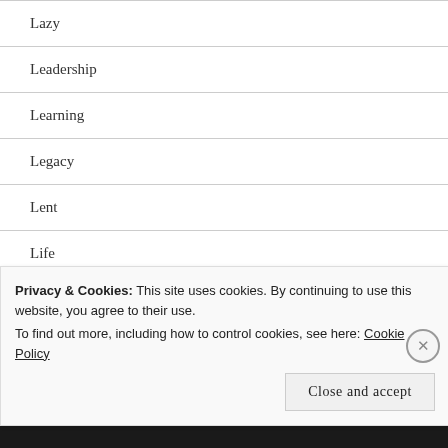Lazy
Leadership
Learning
Legacy
Lent
Life
Listening To God
Listening to Others
(partial, truncated)
Privacy & Cookies: This site uses cookies. By continuing to use this website, you agree to their use.
To find out more, including how to control cookies, see here: Cookie Policy
Close and accept